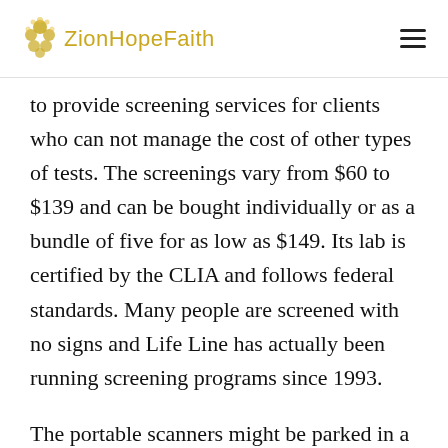ZionHopeFaith
to provide screening services for clients who can not manage the cost of other types of tests. The screenings vary from $60 to $139 and can be bought individually or as a bundle of five for as low as $149. Its lab is certified by the CLIA and follows federal standards. Many people are screened with no signs and Life Line has actually been running screening programs since 1993.
The portable scanners might be parked in a regional shopping center or church. It is